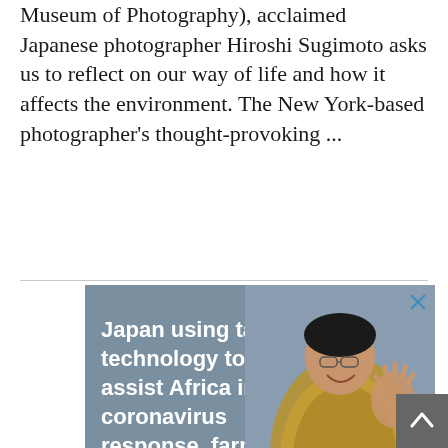Museum of Photography), acclaimed Japanese photographer Hiroshi Sugimoto asks us to reflect on our way of life and how it affects the environment. The New York-based photographer's thought-provoking ...
[Figure (photo): Advertisement banner with grey background featuring a smiling Japanese man in patterned jacket waving, with text 'Japan using talent, technology to assist Africa in coronavirus response, farming' and Japan Sharing Tomorrow logo at bottom left. Close button (X) in top right corner.]